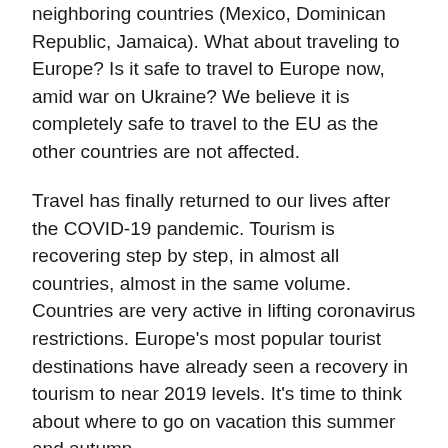neighboring countries (Mexico, Dominican Republic, Jamaica). What about traveling to Europe? Is it safe to travel to Europe now, amid war on Ukraine? We believe it is completely safe to travel to the EU as the other countries are not affected.
Travel has finally returned to our lives after the COVID-19 pandemic. Tourism is recovering step by step, in almost all countries, almost in the same volume. Countries are very active in lifting coronavirus restrictions. Europe's most popular tourist destinations have already seen a recovery in tourism to near 2019 levels. It's time to think about where to go on vacation this summer and autumn.
The pandemic is receding, but a new disaster has come - the war in Ukraine. American tourists may have concerns: is it safe to travel to Europe now? Is it